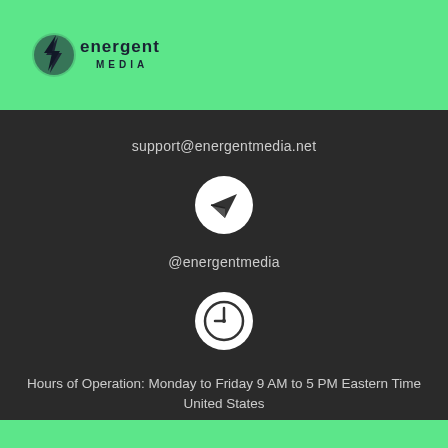[Figure (logo): Energent Media logo with lightning bolt icon on green background]
support@energentmedia.net
[Figure (illustration): White circle with paper airplane (send) icon]
@energentmedia
[Figure (illustration): White circle with clock icon]
Hours of Operation: Monday to Friday 9 AM to 5 PM Eastern Time United States